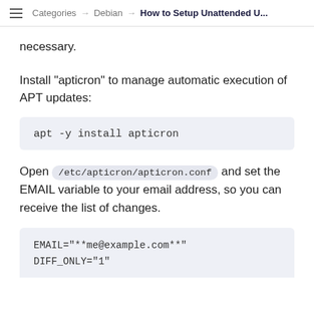Categories → Debian → How to Setup Unattended U...
necessary.
Install "apticron" to manage automatic execution of APT updates:
apt -y install apticron
Open /etc/apticron/apticron.conf and set the EMAIL variable to your email address, so you can receive the list of changes.
EMAIL="**me@example.com**"
DIFF_ONLY="1"